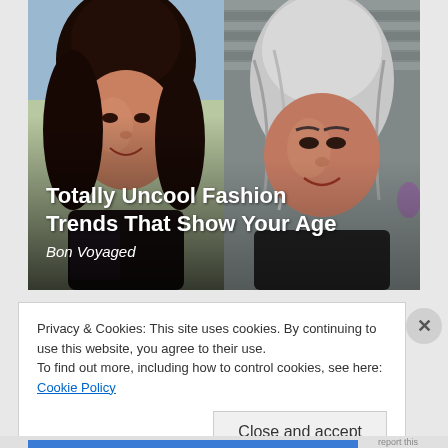[Figure (photo): Two women side by side: left photo shows a younger woman with long dark wavy hair smiling, right photo shows an older woman with silver-gray hair smiling. Article thumbnail for 'Totally Uncool Fashion Trends That Show Your Age' from Bon Voyaged.]
Totally Uncool Fashion Trends That Show Your Age
Bon Voyaged
Privacy & Cookies: This site uses cookies. By continuing to use this website, you agree to their use.
To find out more, including how to control cookies, see here: Cookie Policy
Close and accept